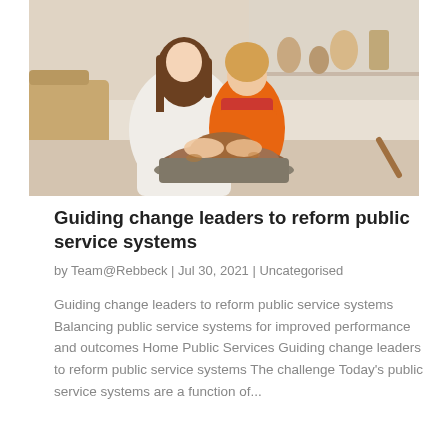[Figure (photo): A woman and a young girl working together at a pottery wheel, both shaping clay with their hands. The girl is wearing an orange apron. They are in a pottery studio with shelves of ceramic items in the background.]
Guiding change leaders to reform public service systems
by Team@Rebbeck | Jul 30, 2021 | Uncategorised
Guiding change leaders to reform public service systems Balancing public service systems for improved performance and outcomes Home Public Services Guiding change leaders to reform public service systems The challenge Today's public service systems are a function of...